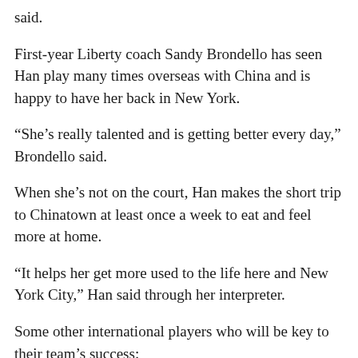said.
First-year Liberty coach Sandy Brondello has seen Han play many times overseas with China and is happy to have her back in New York.
“She’s really talented and is getting better every day,” Brondello said.
When she’s not on the court, Han makes the short trip to Chinatown at least once a week to eat and feel more at home.
“It helps her get more used to the life here and New York City,” Han said through her interpreter.
Some other international players who will be key to their team’s success:
RUI MACHIDA, Mystics
Machida helped Japan win an Olympic silver medal last